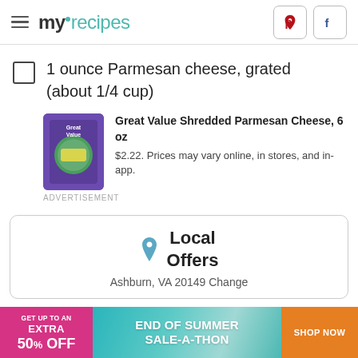myrecipes
1 ounce Parmesan cheese, grated (about 1/4 cup)
[Figure (photo): Purple bag of Great Value Shredded Parmesan Cheese, 6 oz]
Great Value Shredded Parmesan Cheese, 6 oz
$2.22. Prices may vary online, in stores, and in-app.
ADVERTISEMENT
Local Offers
Ashburn, VA 20149 Change
[Figure (infographic): End of Summer Sale-A-Thon advertisement banner with pink left section (Get up to an Extra 50% off), teal center section (End of Summer Sale-A-Thon), and orange right section (Shop Now)]